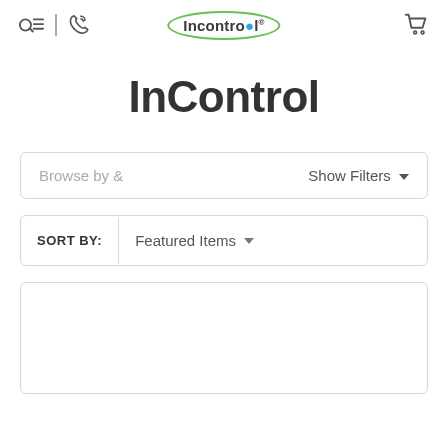InControl website header with search, phone, logo, and cart icons
InControl
Browse by &   Show Filters
SORT BY: Featured Items